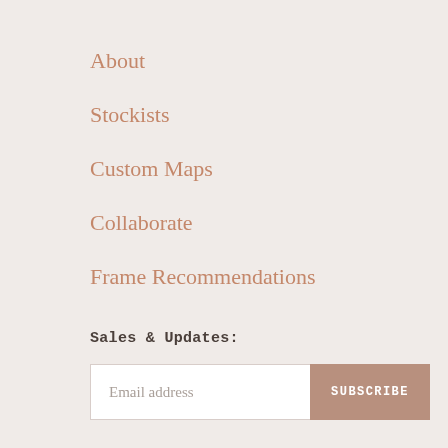About
Stockists
Custom Maps
Collaborate
Frame Recommendations
Sales & Updates:
Email address
SUBSCRIBE